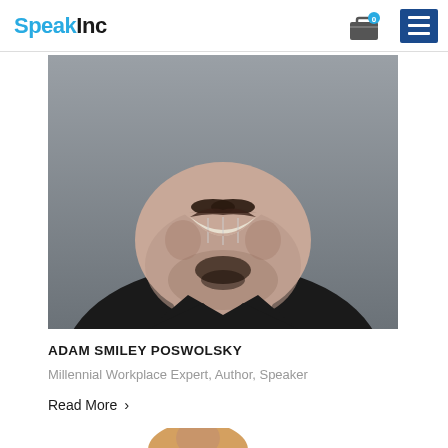SpeakInc
[Figure (photo): Close-up portrait photo of Adam Smiley Poswolsky smiling, wearing a black top, with a grey background]
ADAM SMILEY POSWOLSKY
Millennial Workplace Expert, Author, Speaker
Read More >
[Figure (photo): Partial photo of another speaker visible at bottom of page]